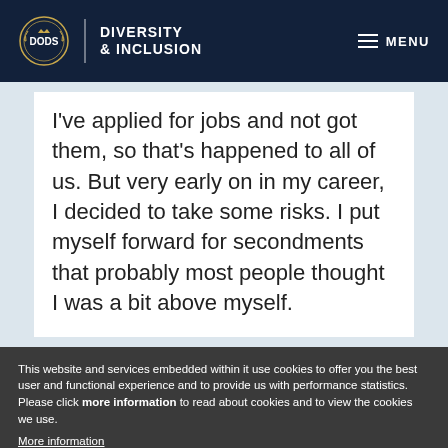DODS DIVERSITY & INCLUSION MENU
I've applied for jobs and not got them, so that's happened to all of us. But very early on in my career, I decided to take some risks. I put myself forward for secondments that probably most people thought I was a bit above myself.
This website and services embedded within it use cookies to offer you the best user and functional experience and to provide us with performance statistics. Please click more information to read about cookies and to view the cookies we use.
More information
Block cookies
ACCEPT + CLOSE